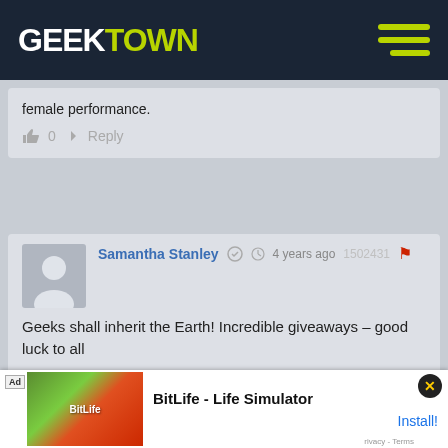GEEKTOWN
female performance.
0  Reply
Samantha Stanley  4 years ago  1502431
Geeks shall inherit the Earth! Incredible giveaways – good luck to all
0  Reply
Nice prizes for whoever wins
[Figure (screenshot): Ad banner for BitLife - Life Simulator with Install button]